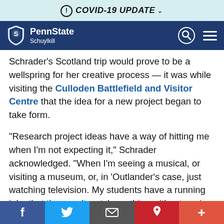COVID-19 UPDATE
[Figure (logo): Penn State Schuylkill navigation bar with logo, search and menu icons]
Schrader's Scotland trip would prove to be a wellspring for her creative process — it was while visiting the Culloden Battlefield and Visitor Centre that the idea for a new project began to take form.
“Research project ideas have a way of hitting me when I'm not expecting it,” Schrader acknowledged. “When I'm seeing a musical, or visiting a museum, or, in 'Outlander's case, just watching television. My students have a running joke that they can't watch anything without seeing
f  🐦  ✉  p  +